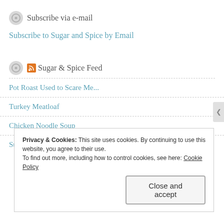Subscribe via e-mail
Subscribe to Sugar and Spice by Email
Sugar & Spice Feed
Pot Roast Used to Scare Me...
Turkey Meatloaf
Chicken Noodle Soup
Summer Vegetable Ratatouille
Privacy & Cookies: This site uses cookies. By continuing to use this website, you agree to their use.
To find out more, including how to control cookies, see here: Cookie Policy
Close and accept